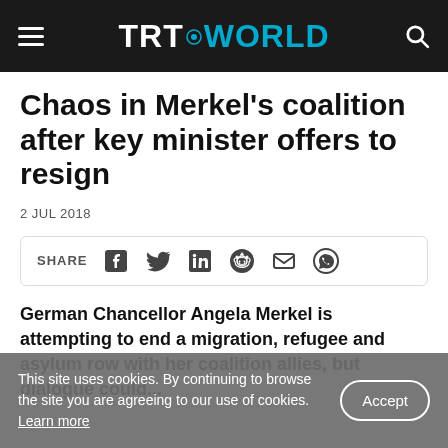TRT WORLD
Chaos in Merkel's coalition after key minister offers to resign
2 JUL 2018
[Figure (infographic): Share bar with SHARE label and social media icons: Facebook, Twitter, LinkedIn, Reddit, Email, WhatsApp]
German Chancellor Angela Merkel is attempting to end a migration, refugee and asylum row with her coalition allies, but dialogue could...
This site uses cookies. By continuing to browse the site you are agreeing to our use of cookies. Learn more